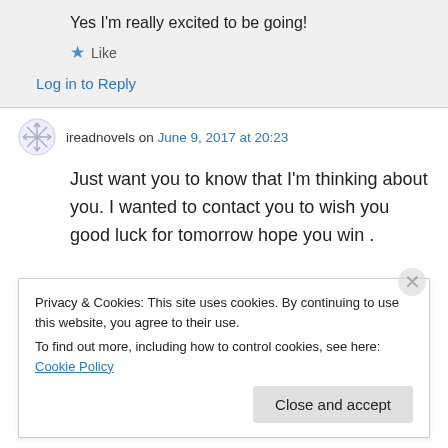Yes I'm really excited to be going!
★ Like
Log in to Reply
ireadnovels on June 9, 2017 at 20:23
Just want you to know that I'm thinking about you. I wanted to contact you to wish you good luck for tomorrow hope you win .
Privacy & Cookies: This site uses cookies. By continuing to use this website, you agree to their use.
To find out more, including how to control cookies, see here: Cookie Policy
Close and accept